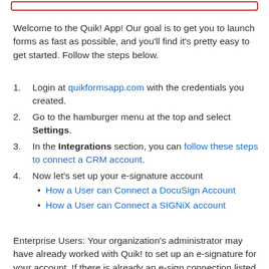[Figure (other): Red border rectangle at top of page]
Welcome to the Quik! App! Our goal is to get you to launch forms as fast as possible, and you'll find it's pretty easy to get started. Follow the steps below.
Login at quikformsapp.com with the credentials you created.
Go to the hamburger menu at the top and select Settings.
In the Integrations section, you can follow these steps to connect a CRM account.
Now let's set up your e-signature account
• How a User can Connect a DocuSign Account
• How a User can Connect a SIGNiX account
Enterprise Users: Your organization's administrator may have already worked with Quik! to set up an e-signature for your account. If there is already an e-sign connection listed